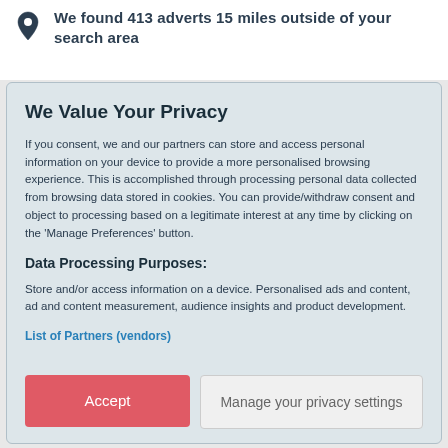We found 413 adverts 15 miles outside of your search area
We Value Your Privacy
If you consent, we and our partners can store and access personal information on your device to provide a more personalised browsing experience. This is accomplished through processing personal data collected from browsing data stored in cookies. You can provide/withdraw consent and object to processing based on a legitimate interest at any time by clicking on the 'Manage Preferences' button.
Data Processing Purposes:
Store and/or access information on a device. Personalised ads and content, ad and content measurement, audience insights and product development.
List of Partners (vendors)
Accept
Manage your privacy settings